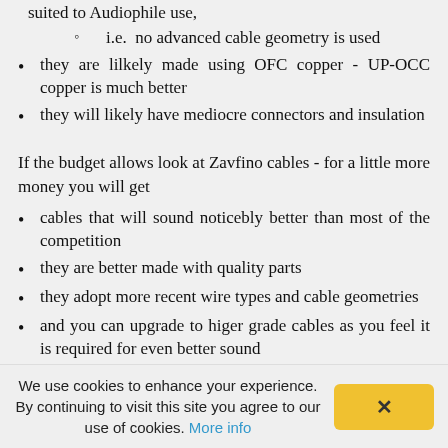suited to Audiophile use,
i.e.  no advanced cable geometry is used
they are lilkely made using OFC copper - UP-OCC copper is much better
they will likely have mediocre connectors and insulation
If the budget allows look at Zavfino cables - for a little more money you will get
cables that will sound noticebly better than most of the competition
they are better made with quality parts
they adopt more recent wire types and cable geometries
and you can upgrade to higer grade cables as you feel it is required for even better sound
We use cookies to enhance your experience. By continuing to visit this site you agree to our use of cookies. More info